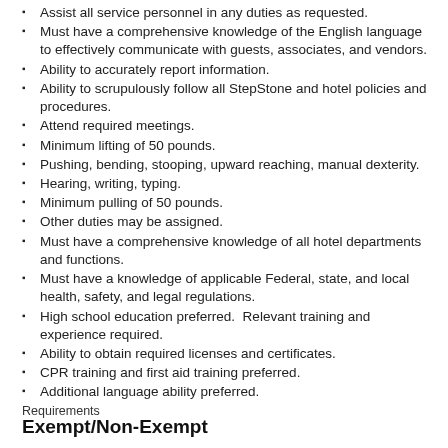Assist all service personnel in any duties as requested.
Must have a comprehensive knowledge of the English language to effectively communicate with guests, associates, and vendors.
Ability to accurately report information.
Ability to scrupulously follow all StepStone and hotel policies and procedures.
Attend required meetings.
Minimum lifting of 50 pounds.
Pushing, bending, stooping, upward reaching, manual dexterity.
Hearing, writing, typing.
Minimum pulling of 50 pounds.
Other duties may be assigned.
Must have a comprehensive knowledge of all hotel departments and functions.
Must have a knowledge of applicable Federal, state, and local health, safety, and legal regulations.
High school education preferred.  Relevant training and experience required.
Ability to obtain required licenses and certificates.
CPR training and first aid training preferred.
Additional language ability preferred.
Requirements
Exempt/Non-Exempt